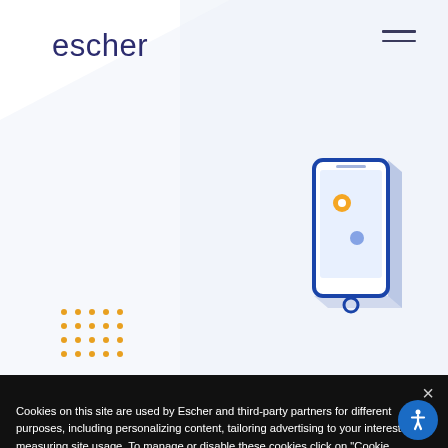[Figure (logo): Escher company logo - word 'escher' in dark navy/purple lowercase sans-serif font]
[Figure (illustration): Hamburger menu icon (three horizontal lines) in top right corner]
[Figure (illustration): Blue isometric smartphone/mobile phone icon with yellow location pin dot on screen, positioned upper right of hero area]
[Figure (illustration): Decorative dot grid pattern (5x4 grid of small orange/amber dots) in lower left of hero area]
Cookies on this site are used by Escher and third-party partners for different purposes, including personalizing content, tailoring advertising to your interests, and measuring site usage. To manage or disable these cookies click on "Cookie Settings" or for more information please visit our Privacy Policy.
[Figure (illustration): Close/X button (×) in white, top right of cookie banner]
[Figure (illustration): Accept button - rounded pill-shaped golden/amber button with bold text 'Accept']
[Figure (illustration): Privacy policy button - rounded pill-shaped golden/amber button with bold text 'Privacy policy']
[Figure (illustration): Accessibility icon button - blue circular button with white person/accessibility symbol, bottom right corner]